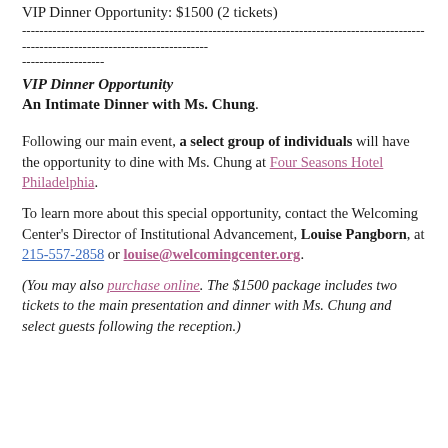VIP Dinner Opportunity: $1500 (2 tickets)
------------------------------------------------------------------------------------------------
-------------------
VIP Dinner Opportunity
An Intimate Dinner with Ms. Chung.
Following our main event, a select group of individuals will have the opportunity to dine with Ms. Chung at Four Seasons Hotel Philadelphia.
To learn more about this special opportunity, contact the Welcoming Center's Director of Institutional Advancement, Louise Pangborn, at 215-557-2858 or louise@welcomingcenter.org.
(You may also purchase online. The $1500 package includes two tickets to the main presentation and dinner with Ms. Chung and select guests following the reception.)